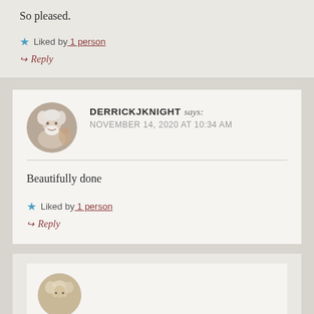So pleased.
★ Liked by 1 person
↪ Reply
DERRICKJKNIGHT says: NOVEMBER 14, 2020 AT 10:34 AM
Beautifully done
★ Liked by 1 person
↪ Reply
[Figure (photo): Circular avatar photo of an elderly man with white beard]
[Figure (photo): Circular avatar photo partially visible at bottom]